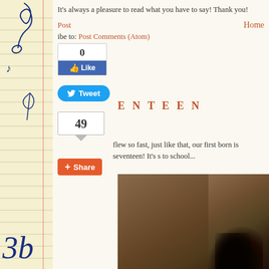It's always a pleasure to read what you have to say! Thank you!
Post   Home
ibe to: Post Comments (Atom)
[Figure (screenshot): Twitter Tweet button (blue rounded)]
E N T E E N
[Figure (screenshot): Facebook Like widget showing 0 likes]
[Figure (screenshot): Comment count box showing 49]
[Figure (screenshot): Google+ Share button (orange/red)]
flew so fast, just like that, our first born is seventeen!  It's s to school...
[Figure (photo): Photo of a teenager, blurred background with wood texture, dark hair visible at bottom right]